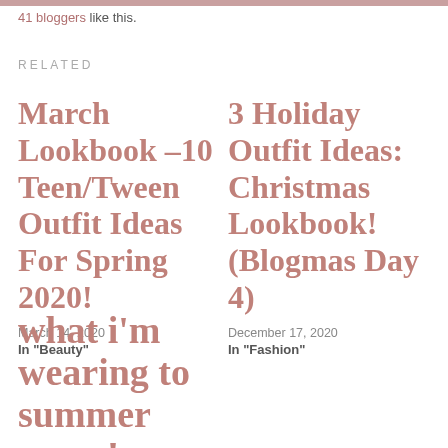41 bloggers like this.
RELATED
March Lookbook –10 Teen/Tween Outfit Ideas For Spring 2020!
March 14, 2020
In "Beauty"
3 Holiday Outfit Ideas: Christmas Lookbook! (Blogmas Day 4)
December 17, 2020
In "Fashion"
what i'm wearing to summer camp! (packing for